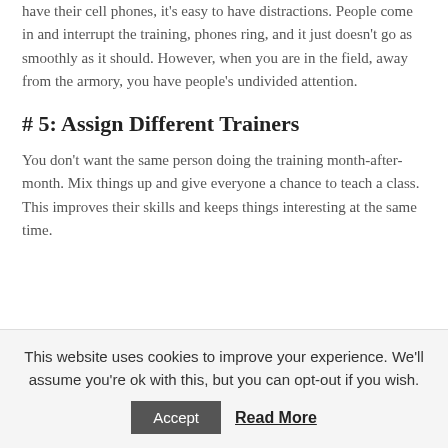have their cell phones, it's easy to have distractions. People come in and interrupt the training, phones ring, and it just doesn't go as smoothly as it should. However, when you are in the field, away from the armory, you have people's undivided attention.
# 5: Assign Different Trainers
You don't want the same person doing the training month-after-month. Mix things up and give everyone a chance to teach a class. This improves their skills and keeps things interesting at the same time.
Never tell people how to do things. Tell them
This website uses cookies to improve your experience. We'll assume you're ok with this, but you can opt-out if you wish.